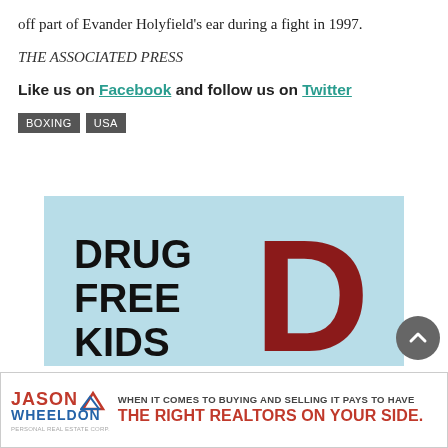off part of Evander Holyfield's ear during a fight in 1997.
THE ASSOCIATED PRESS
Like us on Facebook and follow us on Twitter
BOXING
USA
[Figure (infographic): Drug Free Kids advertisement with large red letter D and bold text reading DRUG FREE KIDS on light blue background]
[Figure (infographic): Jason Wheeldon realtor advertisement: WHEN IT COMES TO BUYING AND SELLING IT PAYS TO HAVE THE RIGHT REALTORS ON YOUR SIDE.]